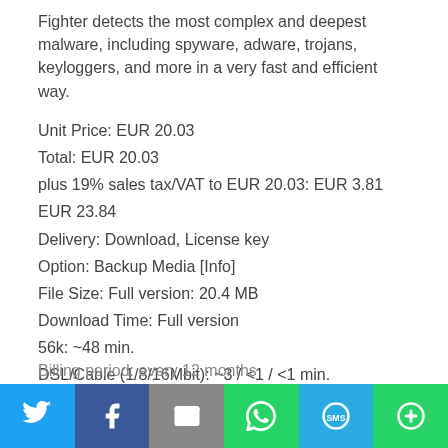Fighter detects the most complex and deepest malware, including spyware, adware, trojans, keyloggers, and more in a very fast and efficient way.
Unit Price: EUR 20.03
Total: EUR 20.03
plus 19% sales tax/VAT to EUR 20.03: EUR 3.81
EUR 23.84
Delivery: Download, License key
Option: Backup Media [Info]
File Size: Full version: 20.4 MB
Download Time: Full version
56k: ~48 min.
DSL/Cable (1/8/16Mbit): ~3 / <1 / <1 min.
Subscription conditions: Duration of the subscription: unlimited
Billing period: every 12 months
[Figure (other): Social sharing bottom bar with Twitter, Facebook, Email, WhatsApp, SMS, and More buttons]